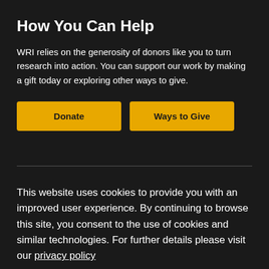How You Can Help
WRI relies on the generosity of donors like you to turn research into action. You can support our work by making a gift today or exploring other ways to give.
Donate
Ways to Give
This website uses cookies to provide you with an improved user experience. By continuing to browse this site, you consent to the use of cookies and similar technologies. For further details please visit our privacy policy
Okay